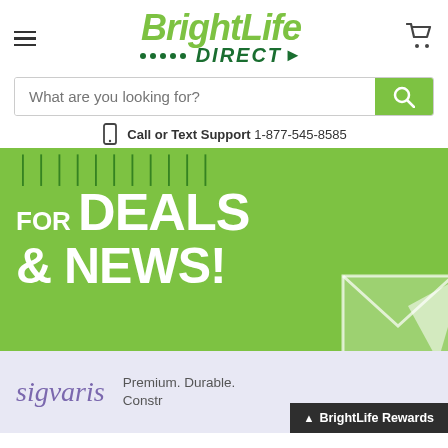BrightLife Direct
What are you looking for?
Call or Text Support 1-877-545-8585
[Figure (infographic): Green promotional banner reading: FOR DEALS & NEWS! with an envelope icon]
[Figure (infographic): Sigvaris section: sigvaris logo with text Premium. Durable. Constructed... and BrightLife Rewards bar]